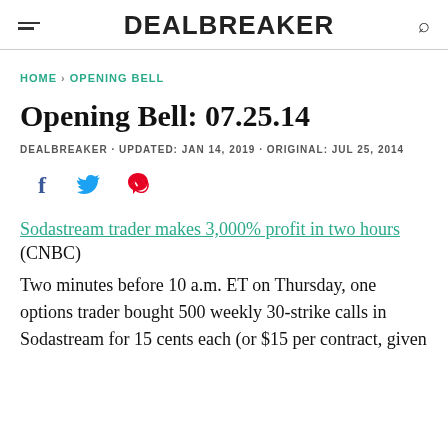DEALBREAKER
HOME > OPENING BELL
Opening Bell: 07.25.14
DEALBREAKER · UPDATED: JAN 14, 2019 · ORIGINAL: JUL 25, 2014
[Figure (other): Social sharing icons: Facebook, Twitter, Pinterest]
Sodastream trader makes 3,000% profit in two hours (CNBC)
Two minutes before 10 a.m. ET on Thursday, one options trader bought 500 weekly 30-strike calls in Sodastream for 15 cents each (or $15 per contract, given